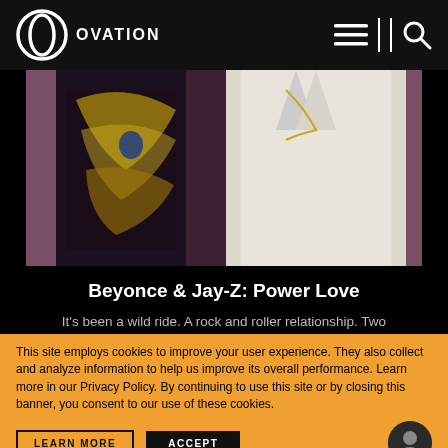OVATION
[Figure (photo): Two people standing together at an event. One wearing a black and gold embellished outfit, the other wearing a white blazer suit.]
Beyonce & Jay-Z: Power Love
It's been a wild ride. A rock and roller relationship. Two
This site employs cookies to improve your user experience. They also collect and analyze information to help us improve its overall performance. Learn more in our Privacy Policy. By continuing to use this site or by closing this banner, you consent to our use of these cookies.
LEARN MORE
ACCEPT